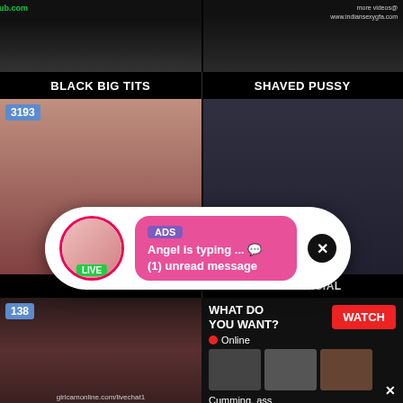[Figure (screenshot): Adult video thumbnail top left with watermark indianhub.com]
[Figure (screenshot): Adult video thumbnail top right with watermark www.indiansexygfa.com]
BLACK BIG TITS
SHAVED PUSSY
[Figure (screenshot): Adult video thumbnail, view count 3193]
[Figure (screenshot): Adult video thumbnail, view count 1051]
[Figure (screenshot): Notification popup ad: ADS - Angel is typing ... 💬 (1) unread message, LIVE badge]
TITS
INTERRACIAL
[Figure (screenshot): Adult video thumbnail bottom left, view count 138, watermark girlcamonline.com/livechat1]
[Figure (screenshot): Ad widget: WHAT DO YOU WANT? WATCH button, Online, Cumming, ass fucking, squirt or... • ADS]